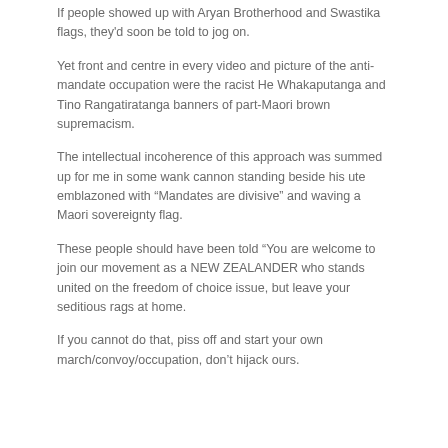If people showed up with Aryan Brotherhood and Swastika flags, they'd soon be told to jog on.
Yet front and centre in every video and picture of the anti-mandate occupation were the racist He Whakaputanga and Tino Rangatiratanga banners of part-Maori brown supremacism.
The intellectual incoherence of this approach was summed up for me in some wank cannon standing beside his ute emblazoned with "Mandates are divisive" and waving a Maori sovereignty flag.
These people should have been told "You are welcome to join our movement as a NEW ZEALANDER who stands united on the freedom of choice issue, but leave your seditious rags at home.
If you cannot do that, piss off and start your own march/convoy/occupation, don't hijack ours.